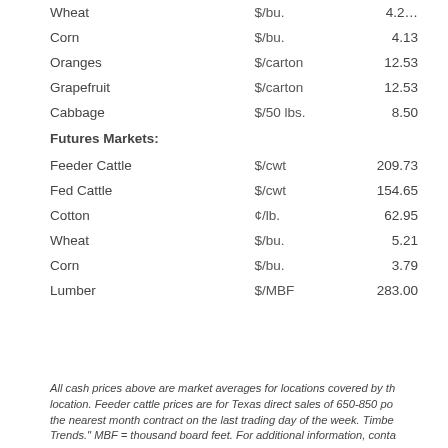| Commodity | Unit | Price |
| --- | --- | --- |
| Wheat | $/bu. | 4.2… |
| Corn | $/bu. | 4.13 |
| Oranges | $/carton | 12.53 |
| Grapefruit | $/carton | 12.53 |
| Cabbage | $/50 lbs. | 8.50 |
| Futures Markets: |  |  |
| Feeder Cattle | $/cwt | 209.73 |
| Fed Cattle | $/cwt | 154.65 |
| Cotton | ¢/lb. | 62.95 |
| Wheat | $/bu. | 5.21 |
| Corn | $/bu. | 3.79 |
| Lumber | $/MBF | 283.00 |
All cash prices above are market averages for locations covered by the location. Feeder cattle prices are for Texas direct sales of 650-850 pounds, the nearest month contract on the last trading day of the week. Timber Trends." MBF = thousand board feet. For additional information, conta...